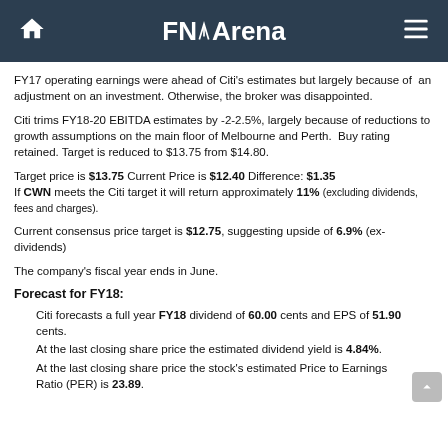FNArena
FY17 operating earnings were ahead of Citi's estimates but largely because of an adjustment on an investment. Otherwise, the broker was disappointed.
Citi trims FY18-20 EBITDA estimates by -2-2.5%, largely because of reductions to growth assumptions on the main floor of Melbourne and Perth. Buy rating retained. Target is reduced to $13.75 from $14.80.
Target price is $13.75 Current Price is $12.40 Difference: $1.35 If CWN meets the Citi target it will return approximately 11% (excluding dividends, fees and charges).
Current consensus price target is $12.75, suggesting upside of 6.9% (ex-dividends)
The company's fiscal year ends in June.
Forecast for FY18:
Citi forecasts a full year FY18 dividend of 60.00 cents and EPS of 51.90 cents.
At the last closing share price the estimated dividend yield is 4.84%.
At the last closing share price the stock's estimated Price to Earnings Ratio (PER) is 23.89.